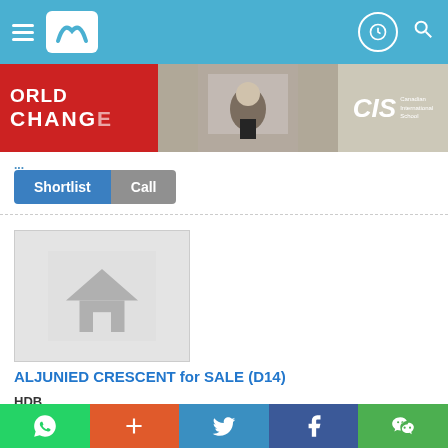Navigation header with hamburger menu, logo, and icons
[Figure (photo): Advertisement banner for Canadian International School (CIS) - shows 'WORLD CHANGERS' text in red with photo of masked student writing on board, and CIS logo on grey background]
Shortlist  Call
[Figure (photo): Property placeholder image with house icon silhouette on grey background]
ALJUNIED CRESCENT for SALE (D14)
HDB
110 ALJUNIED CRESCENT
ENQUIRE
Social share bar: WhatsApp, Plus, Twitter, Facebook, WeChat